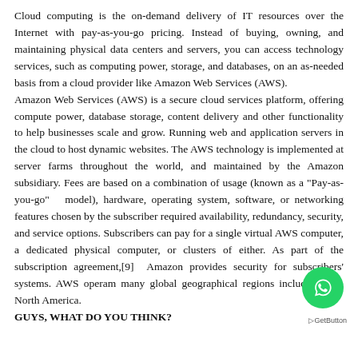Cloud computing is the on-demand delivery of IT resources over the Internet with pay-as-you-go pricing. Instead of buying, owning, and maintaining physical data centers and servers, you can access technology services, such as computing power, storage, and databases, on an as-needed basis from a cloud provider like Amazon Web Services (AWS). Amazon Web Services (AWS) is a secure cloud services platform, offering compute power, database storage, content delivery and other functionality to help businesses scale and grow. Running web and application servers in the cloud to host dynamic websites. The AWS technology is implemented at server farms throughout the world, and maintained by the Amazon subsidiary. Fees are based on a combination of usage (known as a "Pay-as-you-go" model), hardware, operating system, software, or networking features chosen by the subscriber required availability, redundancy, security, and service options. Subscribers can pay for a single virtual AWS computer, a dedicated physical computer, or clusters of either. As part of the subscription agreement,[9] Amazon provides security for subscribers' systems. AWS operates from many global geographical regions including 6 in North America.
GUYS, WHAT DO YOU THINK?